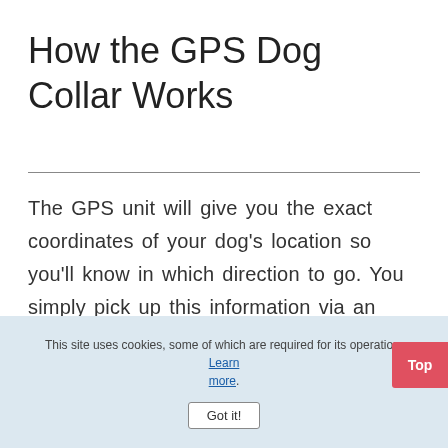How the GPS Dog Collar Works
The GPS unit will give you the exact coordinates of your dog's location so you'll know in which direction to go. You simply pick up this information via an LCD receiver, or a cellphone.
This site uses cookies, some of which are required for its operation. Learn more. Got it!